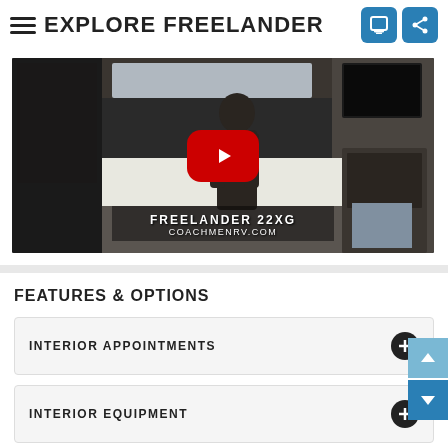EXPLORE FREELANDER
[Figure (screenshot): YouTube video thumbnail showing interior of a Freelander 22XG RV with a person standing inside. A red YouTube play button is overlaid in the center. Text overlay reads 'FREELANDER 22XG' and 'COACHMENRV.COM'.]
FEATURES & OPTIONS
INTERIOR APPOINTMENTS
INTERIOR EQUIPMENT